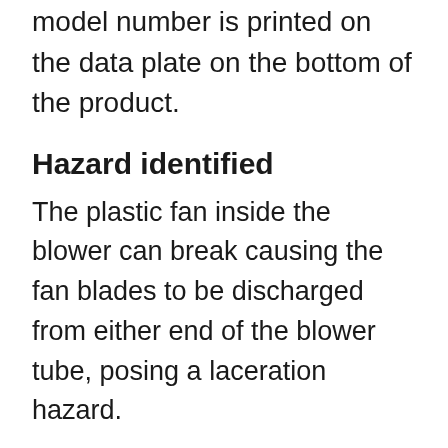model number is printed on the data plate on the bottom of the product.
Hazard identified
The plastic fan inside the blower can break causing the fan blades to be discharged from either end of the blower tube, posing a laceration hazard.
As of January 31, 2017  neither Health Canada nor One World Technolgies, Inc. has received any consumer reports of incidents or injuries related to the use of these products in Canada.
In the United States, One World...